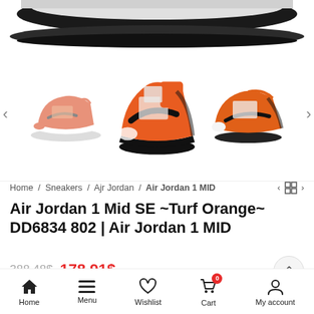[Figure (photo): Top portion of a sneaker (Air Jordan 1 Mid) showing the black sole and white upper, cropped at top of page]
[Figure (photo): Carousel of three Air Jordan 1 Mid SE Turf Orange sneaker thumbnails: left shows a pinkish-orange colorway, center shows orange/black colorway front view, right shows orange/black colorway side view. Navigation arrows on both sides.]
Home / Sneakers / Ajr Jordan / Air Jordan 1 MID
Air Jordan 1 Mid SE ~Turf Orange~ DD6834 802 | Air Jordan 1 MID
388.48$ 178.91$
Home   Menu   Wishlist   Cart (0)   My account